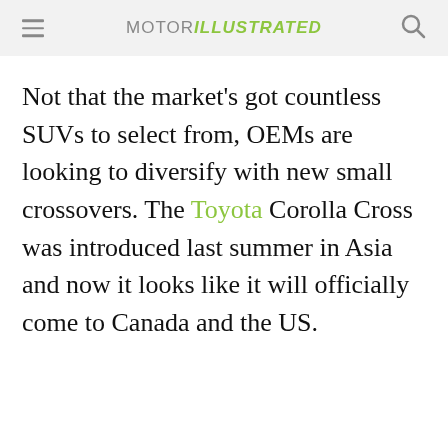MOTOR ILLUSTRATED
Not that the market’s got countless SUVs to select from, OEMs are looking to diversify with new small crossovers. The Toyota Corolla Cross was introduced last summer in Asia and now it looks like it will officially come to Canada and the US.